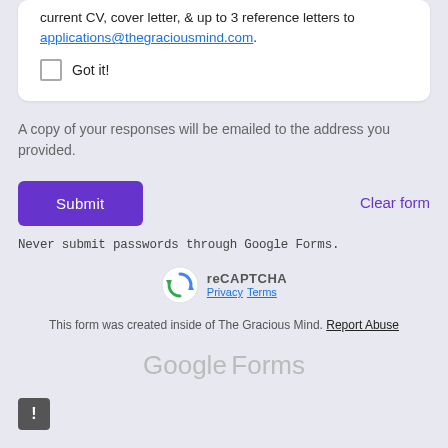current CV, cover letter, & up to 3 reference letters to applications@thegraciousmind.com.
Got it!
A copy of your responses will be emailed to the address you provided.
Submit
Clear form
Never submit passwords through Google Forms.
[Figure (logo): reCAPTCHA logo with Privacy and Terms links]
This form was created inside of The Gracious Mind. Report Abuse
Google Forms